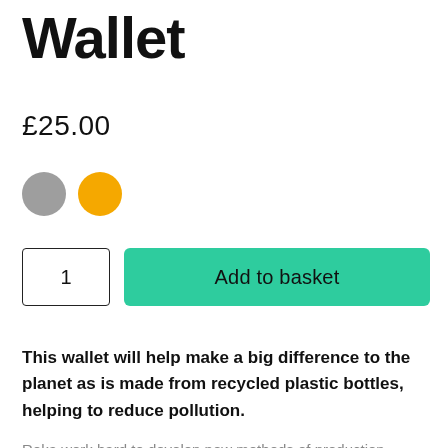Wallet
£25.00
[Figure (illustration): Two color swatches: a grey circle and an orange circle representing product color options]
[Figure (illustration): Quantity input box showing '1' and a teal 'Add to basket' button]
This wallet will help make a big difference to the planet as is made from recycled plastic bottles, helping to reduce pollution.
Roka work hard to develop new methods of production